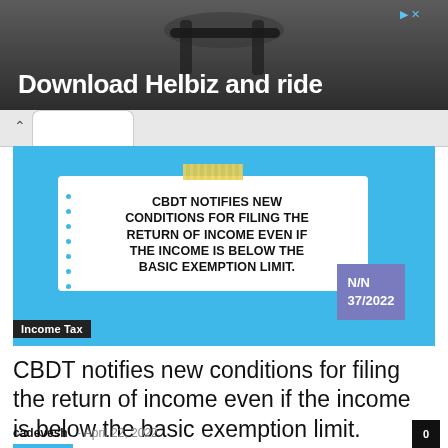[Figure (screenshot): Advertisement banner for Helbiz app showing 'Download Helbiz and ride' text over a dark background with a scooter handlebar image]
[Figure (infographic): Infographic on blue background with white note card reading 'CBDT NOTIFIES NEW CONDITIONS FOR FILING THE RETURN OF INCOME EVEN IF THE INCOME IS BELOW THE BASIC EXEMPTION LIMIT.' with N/N 37/2022 badge and Income Tax label]
CBDT notifies new conditions for filing the return of income even if the income is below the basic exemption limit.
cadevesh - April 22, 2022